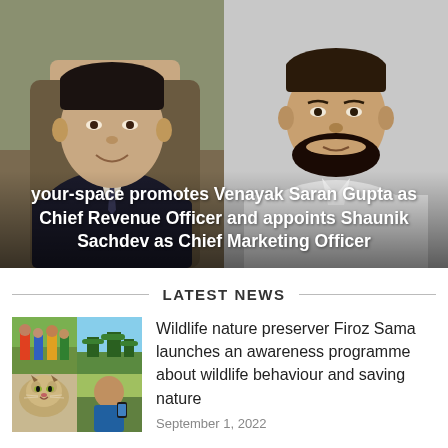[Figure (photo): Two men portraits side by side: left man in dark blazer smiling, right man with beard in light shirt. Hero image for news article about your-space promotions.]
your-space promotes Venayak Saran Gupta as Chief Revenue Officer and appoints Shaunik Sachdev as Chief Marketing Officer
LATEST NEWS
[Figure (photo): Collage of four wildlife/nature photos: top-left people in colorful traditional clothing in a field, top-right landscape, bottom-left wild cat (lynx), bottom-right man using phone outdoors.]
Wildlife nature preserver Firoz Sama launches an awareness programme about wildlife behaviour and saving nature
September 1, 2022